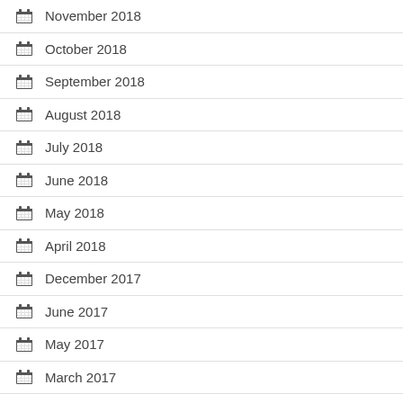November 2018
October 2018
September 2018
August 2018
July 2018
June 2018
May 2018
April 2018
December 2017
June 2017
May 2017
March 2017